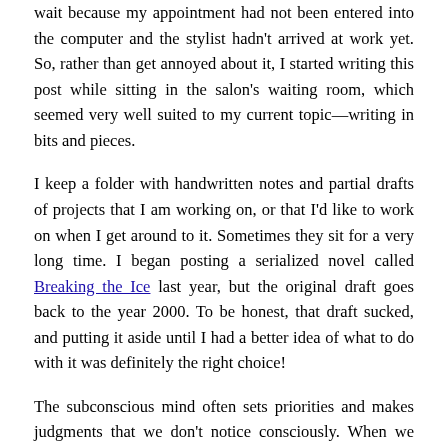wait because my appointment had not been entered into the computer and the stylist hadn't arrived at work yet. So, rather than get annoyed about it, I started writing this post while sitting in the salon's waiting room, which seemed very well suited to my current topic—writing in bits and pieces.
I keep a folder with handwritten notes and partial drafts of projects that I am working on, or that I'd like to work on when I get around to it. Sometimes they sit for a very long time. I began posting a serialized novel called Breaking the Ice last year, but the original draft goes back to the year 2000. To be honest, that draft sucked, and putting it aside until I had a better idea of what to do with it was definitely the right choice!
The subconscious mind often sets priorities and makes judgments that we don't notice consciously. When we jump into a project with enthusiasm and then find that it's fizzling out all of a sudden, or that we've gotten distracted by another new interest, there is probably a lot of subconscious processing involved. It doesn't mean that we are lazy, can't finish what we start, or need to discipline ourselves